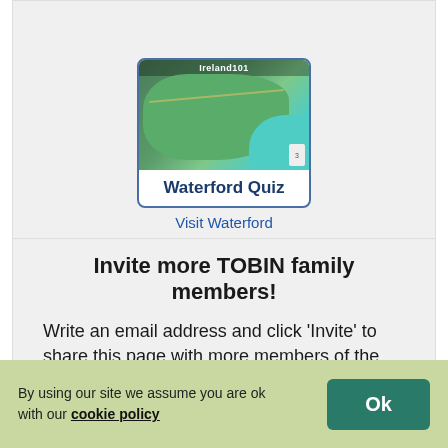[Figure (screenshot): Waterford Quiz card with Ireland 101 map image showing green land and teal water, labeled 'Waterford Quiz']
Visit Waterford
Invite more TOBIN family members!
Write an email address and click 'Invite' to share this page with more members of the TOBIN tribe.
Log in or Register to invite others
By using our site we assume you are ok with our cookie policy
Family Coat of Arms Generator